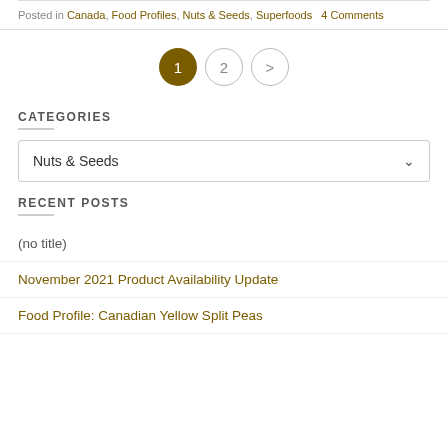Posted in Canada, Food Profiles, Nuts & Seeds, Superfoods  4 Comments
[Figure (other): Pagination buttons: filled dark circle with '1', outlined circle with '2', outlined circle with right arrow >]
CATEGORIES
Nuts & Seeds (dropdown)
RECENT POSTS
(no title)
November 2021 Product Availability Update
Food Profile: Canadian Yellow Split Peas